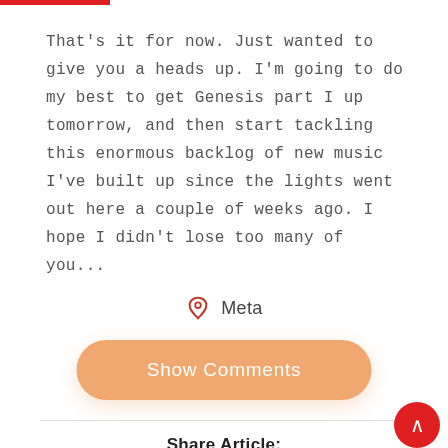That's it for now. Just wanted to give you a heads up. I'm going to do my best to get Genesis part I up tomorrow, and then start tackling this enormous backlog of new music I've built up since the lights went out here a couple of weeks ago. I hope I didn't lose too many of you...
Meta
Show Comments
Share Article: